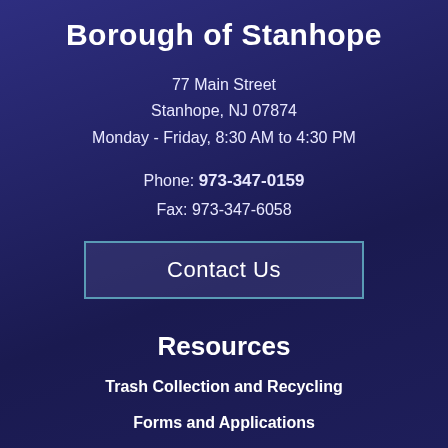Borough of Stanhope
77 Main Street
Stanhope, NJ 07874
Monday - Friday, 8:30 AM to 4:30 PM
Phone: 973-347-0159
Fax: 973-347-6058
Contact Us
Resources
Trash Collection and Recycling
Forms and Applications
Zoning, Tax and Street Maps
Email | Facebook | Like | Twitter | Crown icons